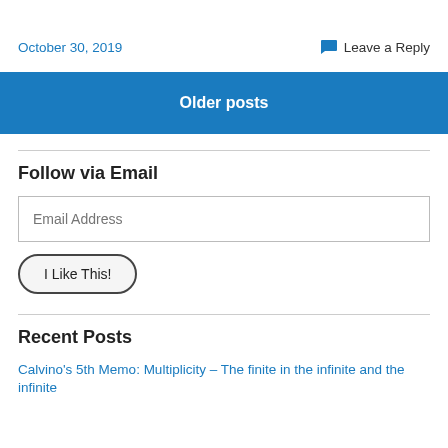October 30, 2019
Leave a Reply
Older posts
Follow via Email
Email Address
I Like This!
Recent Posts
Calvino's 5th Memo: Multiplicity – The finite in the infinite and the infinite